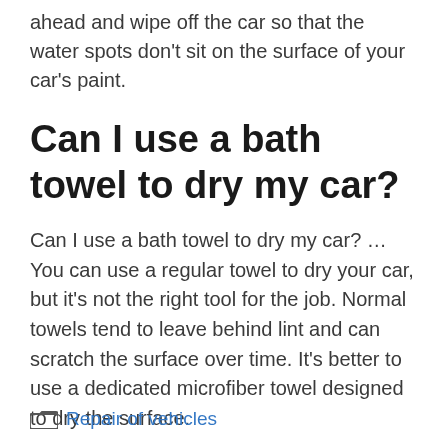ahead and wipe off the car so that the water spots don't sit on the surface of your car's paint.
Can I use a bath towel to dry my car?
Can I use a bath towel to dry my car? … You can use a regular towel to dry your car, but it's not the right tool for the job. Normal towels tend to leave behind lint and can scratch the surface over time. It's better to use a dedicated microfiber towel designed to dry the surface.
Repair of vehicles